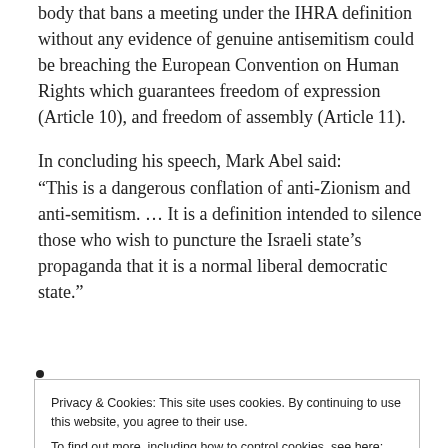body that bans a meeting under the IHRA definition without any evidence of genuine antisemitism could be breaching the European Convention on Human Rights which guarantees freedom of expression (Article 10), and freedom of assembly (Article 11).
In concluding his speech, Mark Abel said: “This is a dangerous conflation of anti-Zionism and anti-semitism. … It is a definition intended to silence those who wish to puncture the Israeli state’s propaganda that it is a normal liberal democratic state.”
•
Privacy & Cookies: This site uses cookies. By continuing to use this website, you agree to their use.
To find out more, including how to control cookies, see here: Cookie Policy
Close and accept
defending the rights of Palestinians, and that